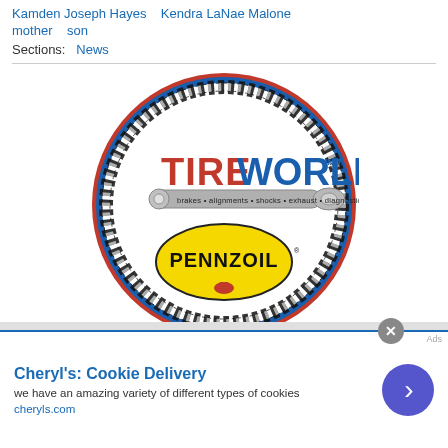Kamden Joseph Hayes   Kendra LaNae Malone
mother   son
Sections:   News
[Figure (logo): TireWorld Inc. circular logo with tire tread border, a wrench graphic with text 'brakes • alignments • shocks • exhaust • diagnostics', and a Pennzoil oval below. Blue and red border circle.]
Cheryl's: Cookie Delivery — we have an amazing variety of different types of cookies — cheryls.com